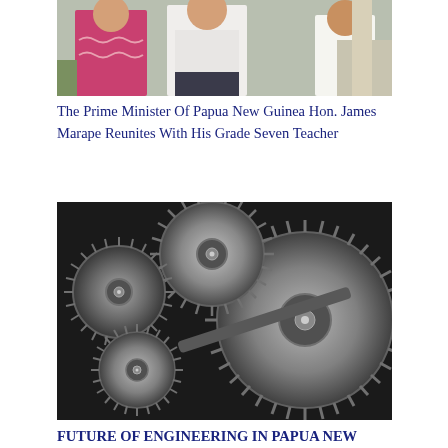[Figure (photo): Photo of people including a woman in a red/pink dress and a man in a white shirt, outdoors]
The Prime Minister Of Papua New Guinea Hon. James Marape Reunites With His Grade Seven Teacher
[Figure (photo): Black and white photo of multiple interlocking metal gears/cogs machinery]
FUTURE OF ENGINEERING IN PAPUA NEW GUINEA
[Figure (photo): Partial photo at bottom of page showing two people, cropped]